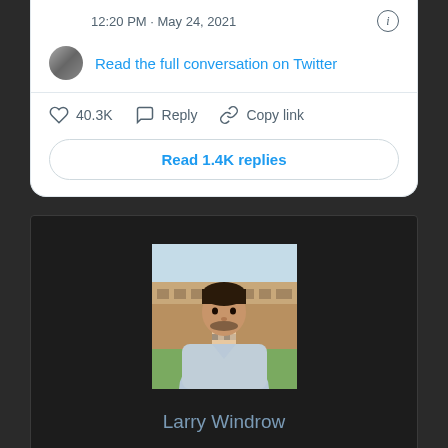12:20 PM · May 24, 2021
Read the full conversation on Twitter
40.3K   Reply   Copy link
Read 1.4K replies
[Figure (photo): Profile photo of a man standing outdoors in front of a large building with green lawn, wearing a light blue sweater]
Larry Windrow
“Incurable web evangelist. Hipster-friendly gamer. Award-winning entrepreneur. Falls down a lot.”